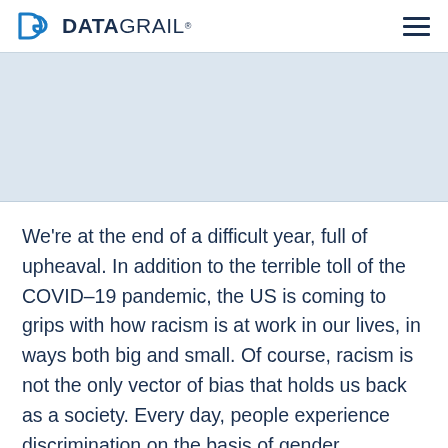DG DATAGRAIL®
[Figure (other): Light blue/grey hero banner area below the navigation header]
We're at the end of a difficult year, full of upheaval. In addition to the terrible toll of the COVID-19 pandemic, the US is coming to grips with how racism is at work in our lives, in ways both big and small. Of course, racism is not the only vector of bias that holds us back as a society. Every day, people experience discrimination on the basis of gender, LGBTQI+ status, age, disability, veteran